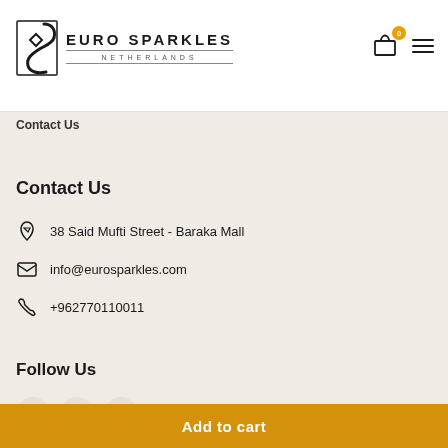[Figure (logo): Euro Sparkles Netherlands logo with stylized S icon on the left and text on the right]
Contact Us
Contact Us
38 Said Mufti Street - Baraka Mall
info@eurosparkles.com
+962770110011
Follow Us
Add to cart